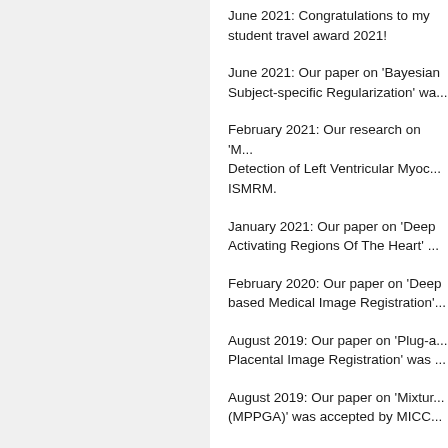June 2021: Congratulations to my student travel award 2021!
June 2021: Our paper on 'Bayesian Subject-specific Regularization' wa...
February 2021: Our research on 'M... Detection of Left Ventricular Myoc... ISMRM.
January 2021: Our paper on 'Deep Activating Regions Of The Heart' ...
February 2020: Our paper on 'Deep based Medical Image Registration'...
August 2019: Our paper on 'Plug-a... Placental Image Registration' was ...
August 2019: Our paper on 'Mixtur... (MPPGA)' was accepted by MICC...
July 2019: Our paper on 'On the Ap...